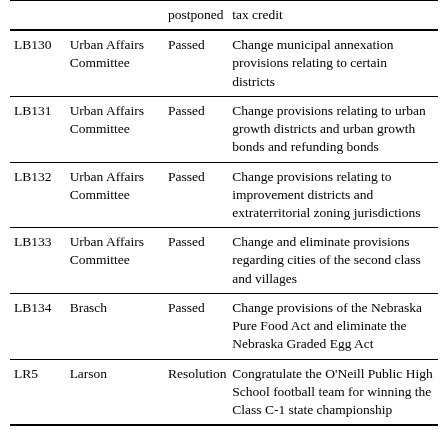|  |  | postponed | tax credit |
| --- | --- | --- | --- |
| LB130 | Urban Affairs Committee | Passed | Change municipal annexation provisions relating to certain districts |
| LB131 | Urban Affairs Committee | Passed | Change provisions relating to urban growth districts and urban growth bonds and refunding bonds |
| LB132 | Urban Affairs Committee | Passed | Change provisions relating to improvement districts and extraterritorial zoning jurisdictions |
| LB133 | Urban Affairs Committee | Passed | Change and eliminate provisions regarding cities of the second class and villages |
| LB134 | Brasch | Passed | Change provisions of the Nebraska Pure Food Act and eliminate the Nebraska Graded Egg Act |
| LR5 | Larson | Resolution | Congratulate the O'Neill Public High School football team for winning the Class C-1 state championship |